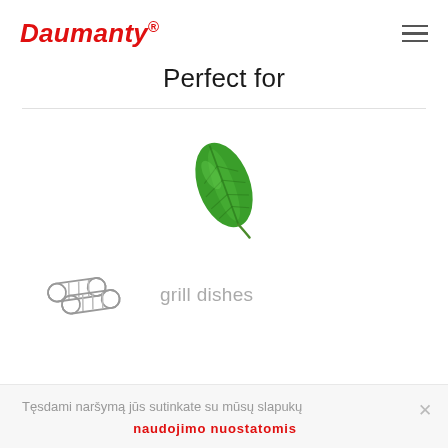Daumantu
Perfect for
[Figure (illustration): A green basil leaf illustration centered on the page]
[Figure (illustration): Two sausages icon for grill dishes]
grill dishes
Tęsdami naršymą jūs sutinkate su mūsų slapukų naudojimo nuostatomis